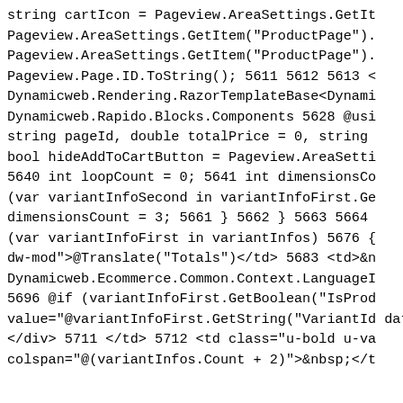string cartIcon = Pageview.AreaSettings.GetIt
Pageview.AreaSettings.GetItem("ProductPage").
Pageview.AreaSettings.GetItem("ProductPage").
Pageview.Page.ID.ToString(); 5611 5612 5613 <
Dynamicweb.Rendering.RazorTemplateBase<Dynami
Dynamicweb.Rapido.Blocks.Components 5628 @usi
string pageId, double totalPrice = 0, string
bool hideAddToCartButton = Pageview.AreaSetti
5640 int loopCount = 0; 5641 int dimensionsCo
(var variantInfoSecond in variantInfoFirst.Ge
dimensionsCount = 3; 5661 } 5662 } 5663 5664
(var variantInfoFirst in variantInfos) 5676 {
dw-mod">@Translate("Totals")</td> 5683 <td>&n
Dynamicweb.Ecommerce.Common.Context.LanguageI
5696 @if (variantInfoFirst.GetBoolean("IsProd
value="@variantInfoFirst.GetString("VariantId
onchange="Matrix.UpdateQuantities(this)" data
</div> 5711 </td> 5712 <td class="u-bold u-va
colspan="@(variantInfos.Count + 2)">&nbsp;</t